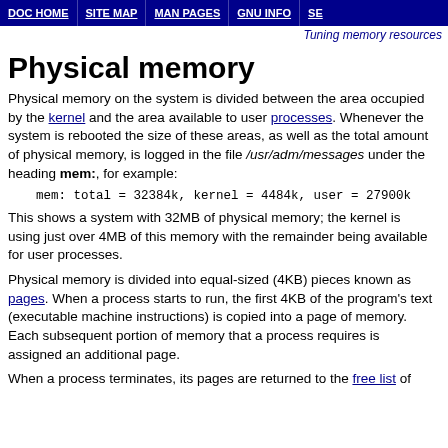DOC HOME | SITE MAP | MAN PAGES | GNU INFO | SE
Tuning memory resources
Physical memory
Physical memory on the system is divided between the area occupied by the kernel and the area available to user processes. Whenever the system is rebooted the size of these areas, as well as the total amount of physical memory, is logged in the file /usr/adm/messages under the heading mem:, for example:
mem: total = 32384k, kernel = 4484k, user = 27900k
This shows a system with 32MB of physical memory; the kernel is using just over 4MB of this memory with the remainder being available for user processes.
Physical memory is divided into equal-sized (4KB) pieces known as pages. When a process starts to run, the first 4KB of the program's text (executable machine instructions) is copied into a page of memory. Each subsequent portion of memory that a process requires is assigned an additional page.
When a process terminates, its pages are returned to the free list of